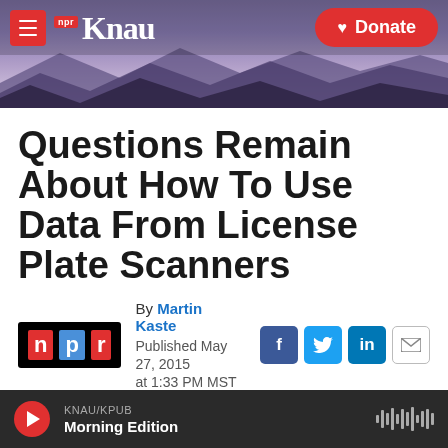KNAU NPR - Donate
Questions Remain About How To Use Data From License Plate Scanners
By Martin Kaste
Published May 27, 2015 at 1:33 PM MST
LISTEN • 3:57
KNAU/KPUB Morning Edition